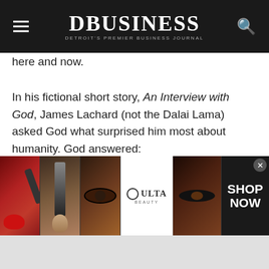DBUSINESS — DETROIT'S PREMIER BUSINESS JOURNAL
here and now.
In his fictional short story, An Interview with God, James Lachard (not the Dalai Lama) asked God what surprised him most about humanity. God answered:
“Many things.
That they get bored of being children, are in a rush to grow up, and then long to be children again.
[Figure (photo): Ulta Beauty advertisement banner showing makeup images (lips with lipstick, makeup brush, eye with makeup, Ulta Beauty logo, close-up eye, and SHOP NOW text)]